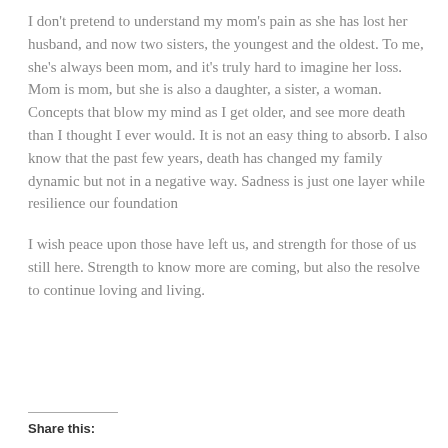I don't pretend to understand my mom's pain as she has lost her husband, and now two sisters, the youngest and the oldest. To me, she's always been mom, and it's truly hard to imagine her loss. Mom is mom, but she is also a daughter, a sister, a woman. Concepts that blow my mind as I get older, and see more death than I thought I ever would. It is not an easy thing to absorb. I also know that the past few years, death has changed my family dynamic but not in a negative way. Sadness is just one layer while resilience our foundation
I wish peace upon those have left us, and strength for those of us still here. Strength to know more are coming, but also the resolve to continue loving and living.
Share this: